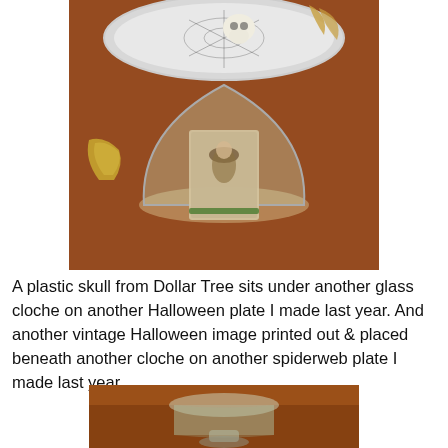[Figure (photo): A glass cloche sits on a wooden surface with a vintage Halloween witch image inside it. Behind the cloche is a Halloween plate with a plastic skull on it. A decorative golden item is visible on the left side.]
A plastic skull from Dollar Tree sits under another glass cloche on another Halloween plate I made last year. And another vintage Halloween image printed out & placed beneath another cloche on another spiderweb plate I made last year.
[Figure (photo): A partial view of a glass cloche on a wooden shelf, showing the bottom portion of the cloche.]